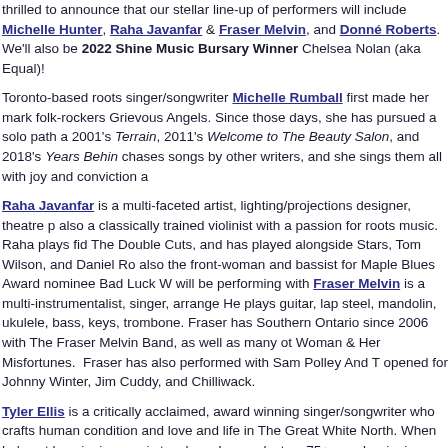thrilled to announce that our stellar line-up of performers will include Michelle Hunter, Raha Javanfar & Fraser Melvin, and Donné Roberts. We'll also be 2022 Shine Music Bursary Winner Chelsea Nolan (aka Equal)!
Toronto-based roots singer/songwriter Michelle Rumball first made her mark folk-rockers Grievous Angels. Since those days, she has pursued a solo path a 2001's Terrain, 2011's Welcome to The Beauty Salon, and 2018's Years Behin chases songs by other writers, and she sings them all with joy and conviction a
Raha Javanfar is a multi-faceted artist, lighting/projections designer, theatre p also a classically trained violinist with a passion for roots music. Raha plays fid The Double Cuts, and has played alongside Stars, Tom Wilson, and Daniel Ro also the front-woman and bassist for Maple Blues Award nominee Bad Luck W will be performing with Fraser Melvin is a multi-instrumentalist, singer, arrange He plays guitar, lap steel, mandolin, ukulele, bass, keys, trombone. Fraser has Southern Ontario since 2006 with The Fraser Melvin Band, as well as many ot Woman & Her Misfortunes. Fraser has also performed with Sam Polley And T opened for Johnny Winter, Jim Cuddy, and Chilliwack.
Tyler Ellis is a critically acclaimed, award winning singer/songwriter who crafts human condition and love and life in The Great White North. When he's not bu winning music teacher who conducts a 75+ member junior elementary choir. In albums of his own songs, Tyler has written ditties for CBC Kids, co-written son